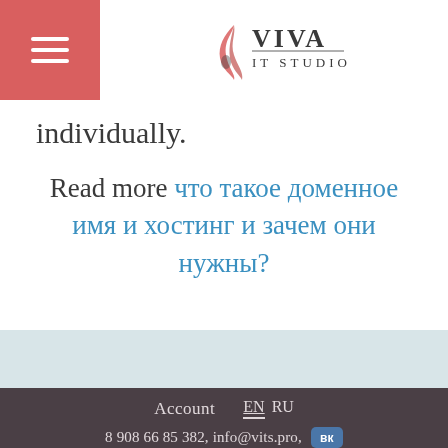VIVA IT STUDIO
individually.
Read more что такое доменное имя и хостинг и зачем они нужны?
Account  EN  RU
8 908 66 85 382, info@vits.pro,
© 2013–2022 Viva IT Studio
Website development studio
We work all over the world